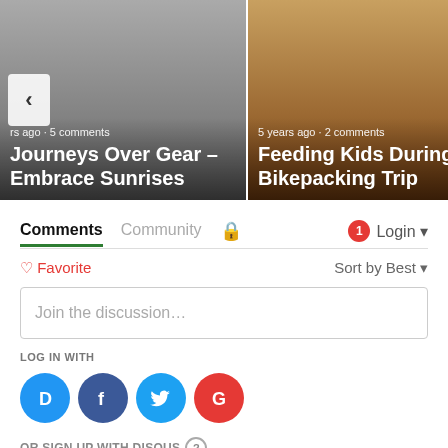[Figure (screenshot): Carousel card showing a grayscale photo of a bicycle with text overlay: 'rs ago · 5 comments' and title 'Journeys Over Gear – Embrace Sunrises']
[Figure (screenshot): Carousel card showing a food photo with text overlay: '5 years ago · 2 comments' and title 'Feeding Kids During a Bikepacking Trip']
Comments   Community   Login
♡ Favorite   Sort by Best
Join the discussion...
LOG IN WITH
OR SIGN UP WITH DISQUS ?